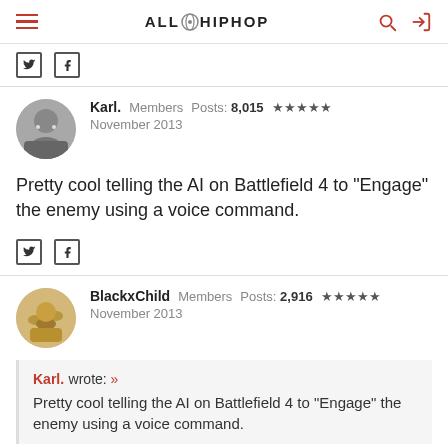AllHipHop
[Figure (logo): AllHipHop website logo with hamburger menu, search icon, and login icon]
Karl. Members Posts: 8,015 ★★★★★ November 2013
Pretty cool telling the AI on Battlefield 4 to "Engage" the enemy using a voice command.
BlackxChild Members Posts: 2,916 ★★★★★ November 2013
Karl. wrote: » Pretty cool telling the AI on Battlefield 4 to "Engage" the enemy using a voice command.